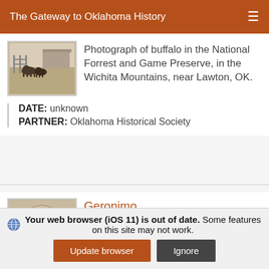The Gateway to Oklahoma History
[Figure (photo): Black and white photograph of buffalo in a field with a fence and building in the background]
Photograph of buffalo in the National Forrest and Game Preserve, in the Wichita Mountains, near Lawton, OK.
DATE: unknown
PARTNER: Oklahoma Historical Society
[Figure (photo): Black and white photograph of Geronimo]
Geronimo
Photograph of Geronimo, for Texas Farm and Ranch.
Your web browser (iOS 11) is out of date. Some features on this site may not work.